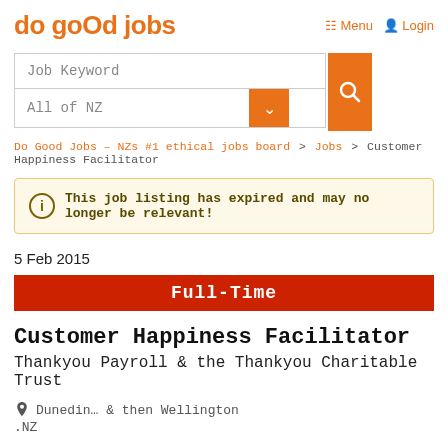do good jobs  Menu  Login
[Figure (screenshot): Search bar with Job Keyword text field and All of NZ dropdown, orange search button]
Do Good Jobs – NZs #1 ethical jobs board > Jobs > Customer Happiness Facilitator
This job listing has expired and may no longer be relevant!
5 Feb 2015
Full-Time
Customer Happiness Facilitator
Thankyou Payroll & the Thankyou Charitable Trust
Dunedin… & then Wellington
.NZ